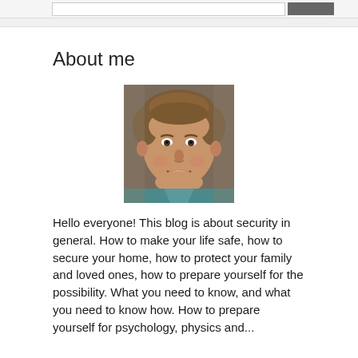About me
[Figure (photo): Headshot of a smiling middle-aged man with short brown hair, wearing a teal shirt, against a blurred background.]
Hello everyone! This blog is about security in general. How to make your life safe, how to secure your home, how to protect your family and loved ones, how to prepare yourself for the possibility. What you need to know, and what you need to know how. How to prepare yourself for psychology, physics and...